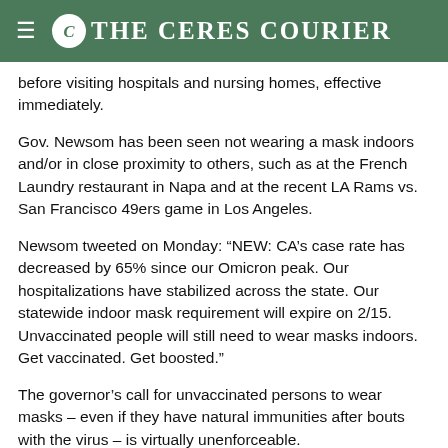The Ceres Courier
before visiting hospitals and nursing homes, effective immediately.
Gov. Newsom has been seen not wearing a mask indoors and/or in close proximity to others, such as at the French Laundry restaurant in Napa and at the recent LA Rams vs. San Francisco 49ers game in Los Angeles.
Newsom tweeted on Monday: “NEW: CA’s case rate has decreased by 65% since our Omicron peak. Our hospitalizations have stabilized across the state. Our statewide indoor mask requirement will expire on 2/15. Unvaccinated people will still need to wear masks indoors. Get vaccinated. Get boosted.”
The governor’s call for unvaccinated persons to wear masks – even if they have natural immunities after bouts with the virus – is virtually unenforceable.